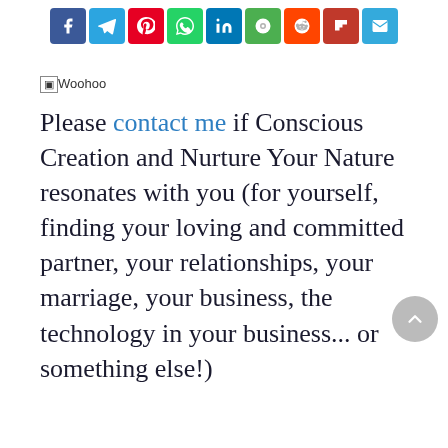[Figure (other): Social media share buttons bar: Facebook (blue), Telegram (light blue), Pinterest (red), WhatsApp (green), LinkedIn (blue), Clipboard/other (green), Reddit (orange-red), Flipboard (dark red), Email (light blue)]
[Figure (other): Broken image placeholder with alt text 'Woohoo']
Please contact me if Conscious Creation and Nurture Your Nature resonates with you (for yourself, finding your loving and committed partner, your relationships, your marriage, your business, the technology in your business... or something else!)